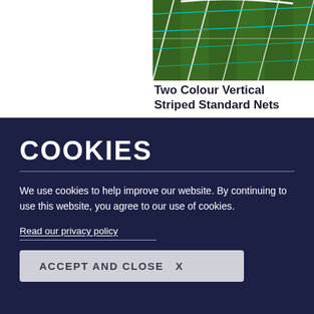[Figure (photo): Close-up photo of a football goal net on grass, showing white and teal/turquoise netting over green grass.]
Two Colour Vertical Striped Standard Nets
COOKIES
We use cookies to help improve our website. By continuing to use this website, you agree to our use of cookies.
Read our privacy policy
ACCEPT AND CLOSE  X